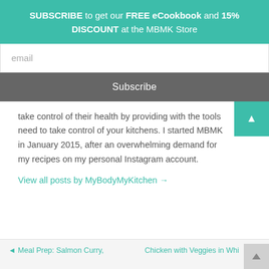SUBSCRIBE to get our FREE eCookbook and 15% DISCOUNT at the MBMK Store
email
Subscribe
take control of their health by providing with the tools need to take control of your kitchens. I started MBMK in January 2015, after an overwhelming demand for my recipes on my personal Instagram account.
View all posts by MyBodyMyKitchen →
Meal Prep: Salmon Curry, ... | Chicken with Veggies in Whi...